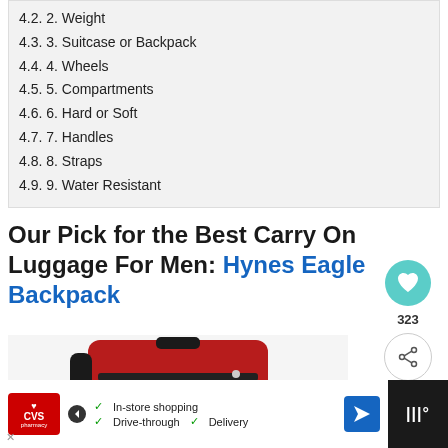4.2. 2. Weight
4.3. 3. Suitcase or Backpack
4.4. 4. Wheels
4.5. 5. Compartments
4.6. 6. Hard or Soft
4.7. 7. Handles
4.8. 8. Straps
4.9. 9. Water Resistant
Our Pick for the Best Carry On Luggage For Men: Hynes Eagle Backpack
[Figure (photo): Red Hynes Eagle backpack product photo]
[Figure (infographic): What's Next sidebar with luggage image linking to Best Women's Carry-On Ba...]
[Figure (infographic): CVS Pharmacy advertisement bar with In-store shopping, Drive-through, and Delivery options]